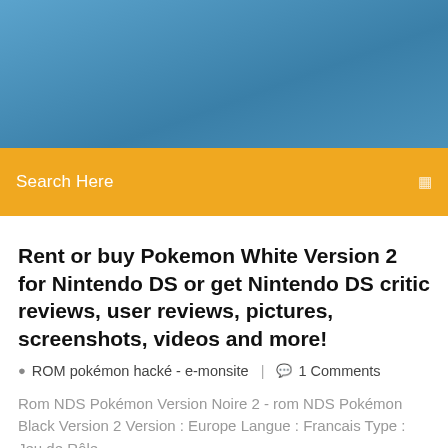[Figure (other): Blue gradient header banner area]
Search Here
Rent or buy Pokemon White Version 2 for Nintendo DS or get Nintendo DS critic reviews, user reviews, pictures, screenshots, videos and more!
ROM pokémon hacké - e-monsite  |  1 Comments
Rom NDS Pokémon Version Noire 2 - rom NDS Pokémon Black Version 2 Version : Europe Langue : Francais Type : Jeu de Rôle